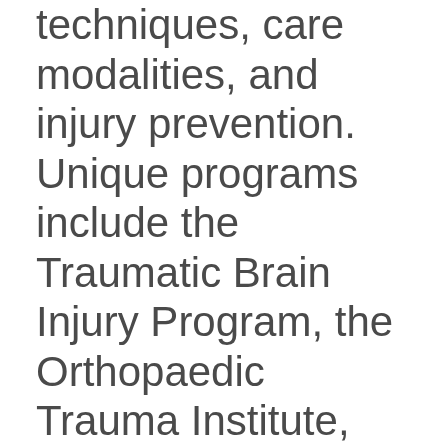techniques, care modalities, and injury prevention. Unique programs include the Traumatic Brain Injury Program, the Orthopaedic Trauma Institute, and the SF Wraparound Project.